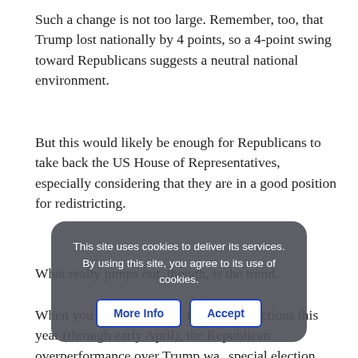Such a change is not too large. Remember, too, that Trump lost nationally by 4 points, so a 4-point swing toward Republicans suggests a neutral national environment.
But this would likely be enough for Republicans to take back the US House of Representatives, especially considering that they are in a good position for redistricting.
What really jumps out, though, is the trend.
When you look at the first 17 special elections this year (through early April), the Republican overperformance over Trump wa... special election... points. When y... Republicans hav...
This site uses cookies to deliver its services. By using this site, you agree to its use of cookies. More Info | Accept